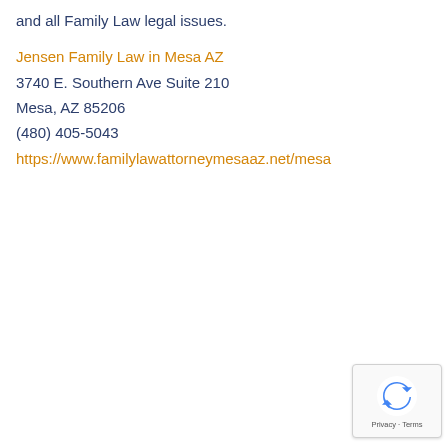and all Family Law legal issues.
Jensen Family Law in Mesa AZ
3740 E. Southern Ave Suite 210
Mesa, AZ 85206
(480) 405-5043
https://www.familylawattorneymesaaz.net/mesa
[Figure (logo): Google reCAPTCHA badge with recycling-arrow icon and Privacy · Terms text]